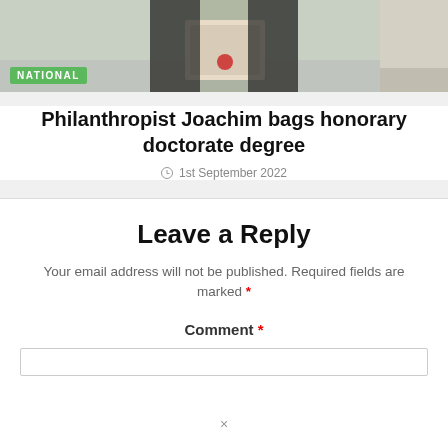[Figure (photo): Photo of a person holding a certificate or award plaque, outdoors. A green badge labeled 'NATIONAL' overlays the bottom-left of the image.]
Philanthropist Joachim bags honorary doctorate degree
1st September 2022
Leave a Reply
Your email address will not be published. Required fields are marked *
Comment *